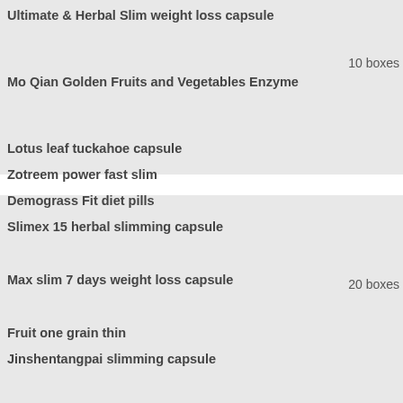Lipo 6 Slimming capsule
Ultimate & Herbal Slim weight loss capsule
Mo Qian Golden Fruits and Vegetables Enzyme
Lotus leaf tuckahoe capsule
Zotreem power fast slim
Demograss Fit diet pills
Slimex 15 herbal slimming capsule
Max slim 7 days weight loss capsule
Fruit one grain thin
Jinshentangpai slimming capsule
Asset Bold slimming pills
BSH Body Slim Herbal Capsule
Paiyousu slimming capsule
Li Ke Show quick Banting diet pills
MGV Botanical Slimming Gold Version Softgel
Best life fat burning capsules
10 boxes
20 boxes
3 boxes o
5 boxes o
Displaying 1 to 5 (of 5 products)